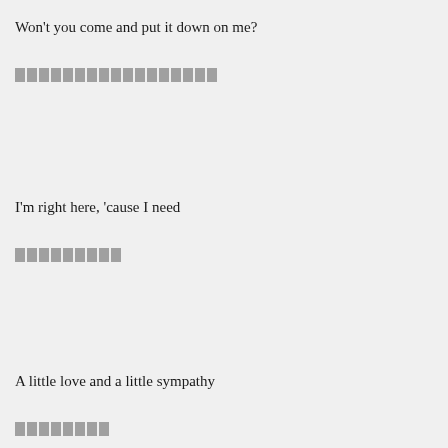Won't you come and put it down on me?
▯▯▯▯▯▯▯▯▯▯▯▯▯▯▯▯▯
I'm right here, 'cause I need
▯▯▯▯▯▯▯▯▯
A little love and a little sympathy
▯▯▯▯▯▯▯▯